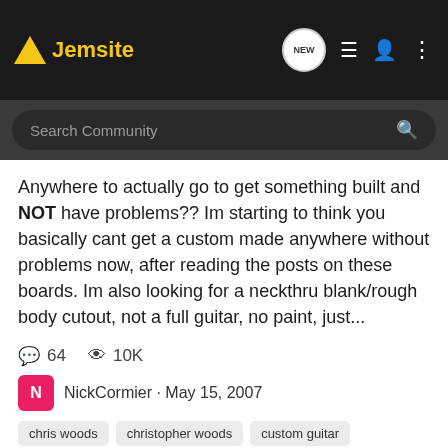Jemsite
Anywhere to actually go to get something built and NOT have problems?? Im starting to think you basically cant get a custom made anywhere without problems now, after reading the posts on these boards. Im also looking for a neckthru blank/rough body cutout, not a full guitar, no paint, just...
64 comments · 10K views
NickCormier · May 15, 2007
chris woods
christopher woods
custom guitar
custom guitars
custom jackson
double neck
double neck jem
ebony fretboard
gmc swirl
headstock shape
herc fede
ibanez neck
jem neck
lgm guitars
local music store
patrick sims
richard fay
steve stevens
string xiphos
zakk wylde